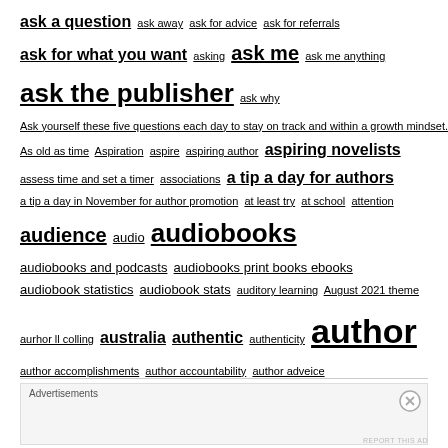ask a question ask away ask for advice ask for referrals ask for what you want asking ask me ask me anything ask the publisher ask why Ask yourself these five questions each day to stay on track and within a growth mindset. As old as time Aspiration aspire aspiring author aspiring novelists assess time and set a timer associations a tip a day for authors a tip a day in November for author promotion at least try at school attention audience audio audiobooks audiobooks and podcasts audiobooks print books ebooks audiobook statistics audiobook stats auditory learning August 2021 theme aurhor ll colling australia authentic authenticity author author accomplishments author accountability author adveice author advice author advice about rejection author advice for book sales author advice for how to sell more books author advice for marketing author advice from a publisher author beliefs author best tips. best tips for authors author birthdays author blog benefits author blogging author booking tips author book marketing author book promotion author bookstore tips author brand author branding author
Advertisements